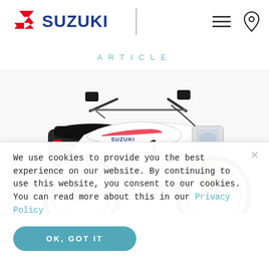[Figure (logo): Suzuki logo: red S emblem and blue SUZUKI wordmark, with hamburger menu icon and location pin icon on the right, separated by a vertical divider line]
ARTICLE
[Figure (photo): White Suzuki dirt/supermoto motorcycle shot from the left-front angle, showing handlebars, headlight, gold forks, and Suzuki branding on the fairings]
We use cookies to provide you the best experience on our website. By continuing to use this website, you consent to our cookies. You can read more about this in our Privacy Policy
OK, GOT IT